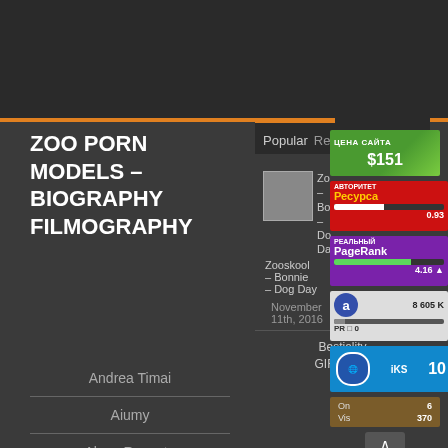ZOO PORN MODELS – BIOGRAPHY FILMOGRAPHY
Popular  Recent
[Figure (screenshot): Post thumbnail for Zooskool – Bonnie – Dog Day]
Zooskool – Bonnie – Dog Day
November 11th, 2016
Bestiality GIFs 2016 – 65
Andrea Timai
Aiumy
Alexa Rovento
[Figure (screenshot): Цена Сайта $151 green badge]
[Figure (screenshot): АВТОРИТЕТ Ресурса 0.93 red badge]
[Figure (screenshot): Реальный PageRank 4.16 purple badge]
[Figure (screenshot): Alexa 8 605 K PR 0 badge]
[Figure (screenshot): iKS 10 blue badge]
[Figure (screenshot): Stats: Online 6, Visitors 370]
[Figure (screenshot): Translate button]